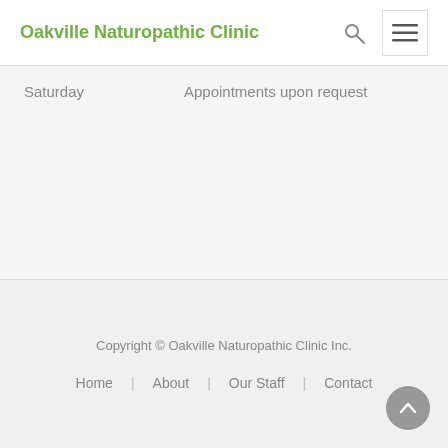Oakville Naturopathic Clinic
Saturday    Appointments upon request
Copyright © Oakville Naturopathic Clinic Inc.
Home | About | Our Staff | Contact